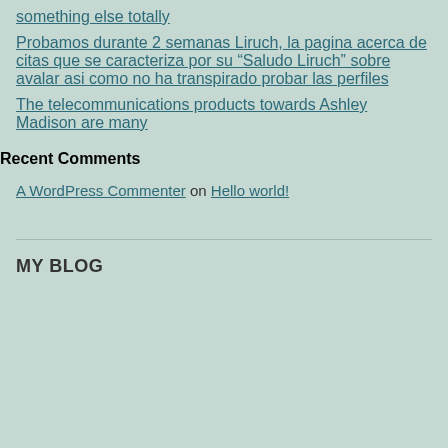something else totally
Probamos durante 2 semanas Liruch, la pagina acerca de citas que se caracteriza por su “Saludo Liruch” sobre avalar asi como no ha transpirado probar las perfiles
The telecommunications products towards Ashley Madison are many
Recent Comments
A WordPress Commenter on Hello world!
MY BLOG